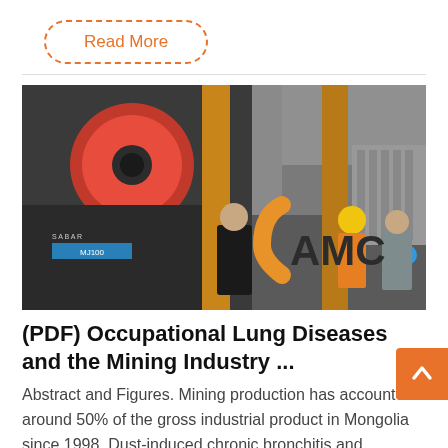Read More
[Figure (photo): Industrial mining machinery (jaw crusher labeled MJ100) with workers wearing safety equipment including hard hats and orange vests, with AMC watermark logo]
(PDF) Occupational Lung Diseases and the Mining Industry ...
Abstract and Figures. Mining production has accounted around 50% of the gross industrial product in Mongolia since 1998. Dust-induced chronic bronchitis and pneumoconiosis